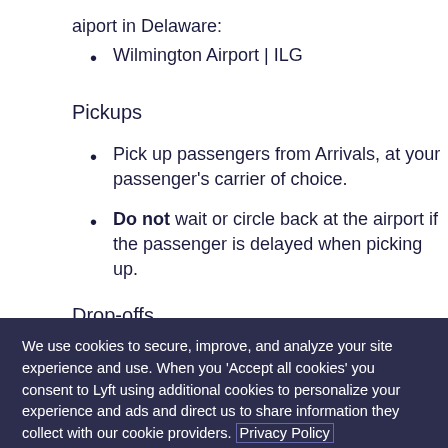aiport in Delaware:
Wilmington Airport | ILG
Pickups
Pick up passengers from Arrivals, at your passenger's carrier of choice.
Do not wait or circle back at the airport if the passenger is delayed when picking up.
Drop-offs
We use cookies to secure, improve, and analyze your site experience and use. When you 'Accept all cookies' you consent to Lyft using additional cookies to personalize your experience and ads and direct us to share information they collect with our cookie providers. Privacy Policy